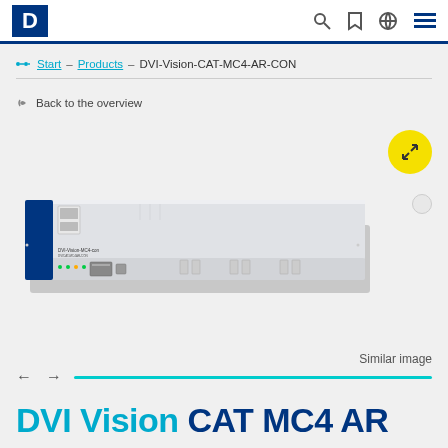D — Start – Products – DVI-Vision-CAT-MC4-AR-CON
← Back to the overview
[Figure (photo): A 1U rack-mounted hardware device (DVI Vision MC4) with silver/grey chassis, front panel featuring USB ports, ethernet port, indicator LEDs, and various connectors. Label on device reads 'DVI-Vision-MC4-con'.]
Similar image
DVI Vision CAT MC4 AR